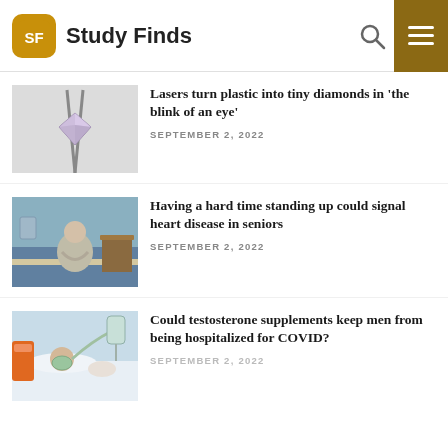Study Finds
Lasers turn plastic into tiny diamonds in 'the blink of an eye'
SEPTEMBER 2, 2022
[Figure (photo): A small round brilliant-cut diamond held by tweezers against a white background]
Having a hard time standing up could signal heart disease in seniors
SEPTEMBER 2, 2022
[Figure (photo): An elderly man sitting hunched on a hospital bed]
Could testosterone supplements keep men from being hospitalized for COVID?
SEPTEMBER 2, 2022
[Figure (photo): A patient lying in a hospital bed with medical equipment and an oxygen mask]